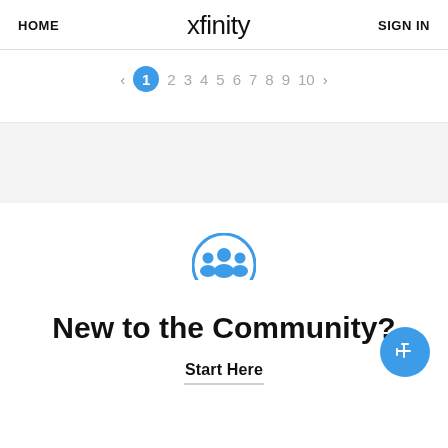HOME | xfinity | SIGN IN
[Figure (screenshot): Pagination row showing page 1 (highlighted in blue circle) followed by pages 2 through 10, with left and right arrows]
[Figure (illustration): Blue circular community/people group icon]
New to the Community?
Start Here